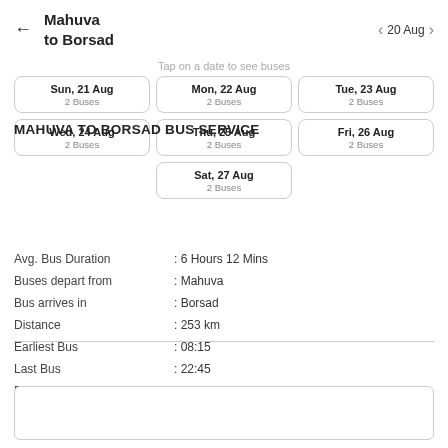Mahuva to Borsad   < 20 Aug >
Tap on a date to see buses
| Date | Buses |
| --- | --- |
| Sun, 21 Aug | 2 Buses |
| Mon, 22 Aug | 2 Buses |
| Tue, 23 Aug | 2 Buses |
| Wed, 24 Aug | 2 Buses |
| Thu, 25 Aug | 2 Buses |
| Fri, 26 Aug | 2 Buses |
| Sat, 27 Aug | 2 Buses |
MAHUVA TO BORSAD BUS SERVICE
| Field | Value |
| --- | --- |
| Avg. Bus Duration | : 6 Hours 12 Mins |
| Buses depart from | : Mahuva |
| Bus arrives in | : Borsad |
| Distance | : 253 km |
| Earliest Bus | : 08:15 |
| Last Bus | : 22:45 |
| Daily Bus Services | : 28 |
| Bus Companies | : Ekta Tours and Travels, GSRTC, J k travels |